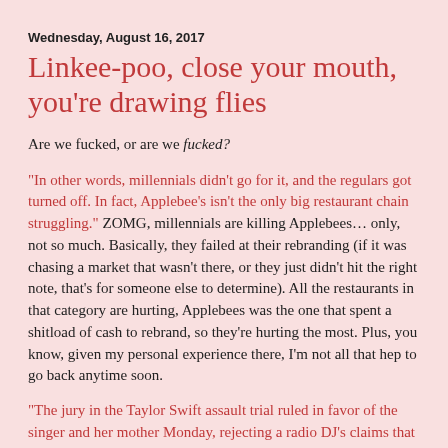Wednesday, August 16, 2017
Linkee-poo, close your mouth, you're drawing flies
Are we fucked, or are we fucked?
"In other words, millennials didn't go for it, and the regulars got turned off. In fact, Applebee's isn't the only big restaurant chain struggling." ZOMG, millennials are killing Applebees… only, not so much. Basically, they failed at their rebranding (if it was chasing a market that wasn't there, or they just didn't hit the right note, that's for someone else to determine). All the restaurants in that category are hurting, Applebees was the one that spent a shitload of cash to rebrand, so they're hurting the most. Plus, you know, given my personal experience there, I'm not all that hep to go back anytime soon.
"The jury in the Taylor Swift assault trial ruled in favor of the singer and her mother Monday, rejecting a radio DJ's claims that they unjustly had him fired from his job after allegedly groping the singer during a 2013 photo opportunity and counter-sued..." Oth the sheer di...